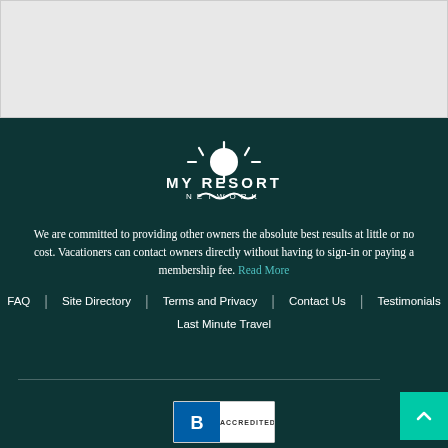[Figure (other): Gray/white placeholder content area at top of page]
[Figure (logo): My Resort Network logo — sun icon above text MY RESORT NETWORK with wave decoration, white on dark teal background]
We are committed to providing other owners the absolute best results at little or no cost. Vacationers can contact owners directly without having to sign-in or paying a membership fee. Read More
FAQ
Site Directory
Terms and Privacy
Contact Us
Testimonials
Last Minute Travel
[Figure (logo): BBB Accredited Business badge — blue and white badge showing ACCREDITED text]